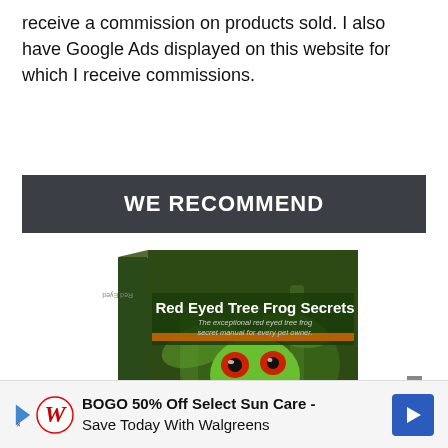receive a commission on products sold. I also have Google Ads displayed on this website for which I receive commissions.
WE RECOMMEND
[Figure (photo): Book cover of 'Red Eyed Tree Frog Secrets' showing a red-eyed tree frog on the cover with subtitle 'The exceptional red eyed tree frog secret manual for every pet owner.']
source was found for this media.
BOGO 50% Off Select Sun Care - Save Today With Walgreens